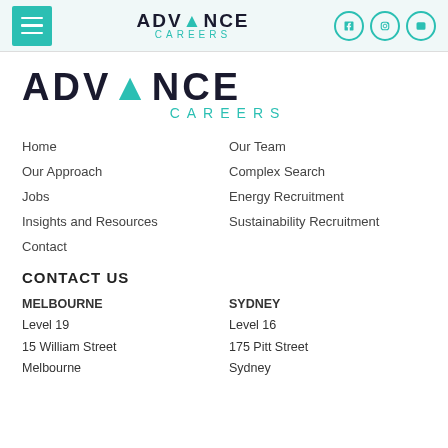ADVANCE CAREERS (navigation bar with hamburger menu and social icons)
[Figure (logo): Advance Careers large logo with dark ADVANCE text (V in teal) and teal CAREERS text]
Home
Our Team
Our Approach
Complex Search
Jobs
Energy Recruitment
Insights and Resources
Sustainability Recruitment
Contact
CONTACT US
MELBOURNE
Level 19
15 William Street
Melbourne
SYDNEY
Level 16
175 Pitt Street
Sydney